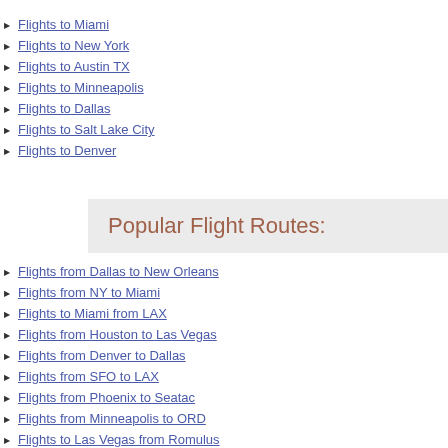Flights to Miami
Flights to New York
Flights to Austin TX
Flights to Minneapolis
Flights to Dallas
Flights to Salt Lake City
Flights to Denver
Popular Flight Routes:
Flights from Dallas to New Orleans
Flights from NY to Miami
Flights to Miami from LAX
Flights from Houston to Las Vegas
Flights from Denver to Dallas
Flights from SFO to LAX
Flights from Phoenix to Seatac
Flights from Minneapolis to ORD
Flights to Las Vegas from Romulus